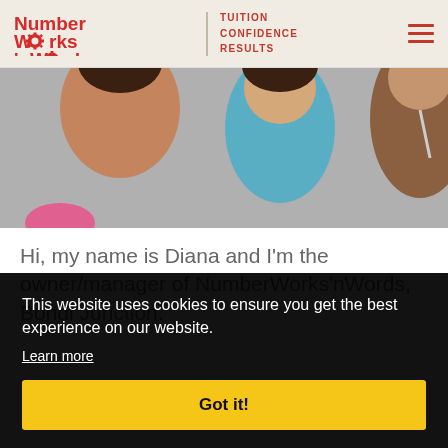[Figure (logo): NumberWorks'nWords logo with gear icons, tagline: TUITION CONFIDENCE RESULTS, and hamburger menu icon]
[Figure (photo): Cropped photo showing two people, one wearing a blue shirt]
Hi, my name is Diana and I'm the owner/manager of NumberWorks'nWords, Bondi Junction.
This website uses cookies to ensure you get the best experience on our website.
Learn more
Got it!
essential in empowering students to succeed in and out of life situations, I am...